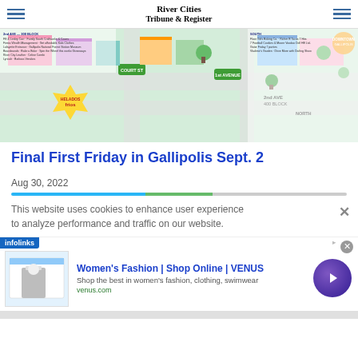River Cities Tribune & Register
[Figure (map): Illustrated isometric map of downtown Gallipolis showing streets including Court St, 1st Avenue, 2nd Avenue 400 Block, vendor and business locations for First Friday event]
Final First Friday in Gallipolis Sept. 2
Aug 30, 2022
This website uses cookies to enhance user experience to analyze performance and traffic on our website.
[Figure (screenshot): Advertisement: Women's Fashion | Shop Online | VENUS - Shop the best in women's fashion, clothing, swimwear - venus.com]
infolinks